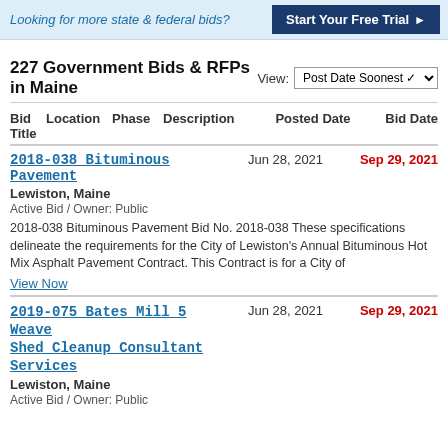Looking for more state & federal bids? Start Your Free Trial
227 Government Bids & RFPs in Maine
View: Post Date Soonest
| Bid Title | Location | Phase | Description | Posted Date | Bid Date |
| --- | --- | --- | --- | --- | --- |
| 2018-038 Bituminous Pavement | Lewiston, Maine | Active Bid / Owner: Public | 2018-038 Bituminous Pavement Bid No. 2018-038 These specifications delineate the requirements for the City of Lewiston's Annual Bituminous Hot Mix Asphalt Pavement Contract. This Contract is for a City of | Jun 28, 2021 | Sep 29, 2021 |
| 2019-075 Bates Mill 5 Weave Shed Cleanup Consultant Services | Lewiston, Maine | Active Bid / Owner: Public |  | Jun 28, 2021 | Sep 29, 2021 |
View Now
Active Bid / Owner: Public